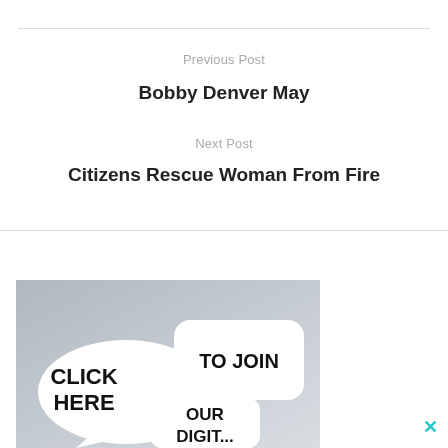Previous Post
Bobby Denver May
Next Post
Citizens Rescue Woman From Fire
[Figure (illustration): Advertisement image showing speech bubbles with text: CLICK HERE, TO JOIN, OUR, DIGIT... on a grey background]